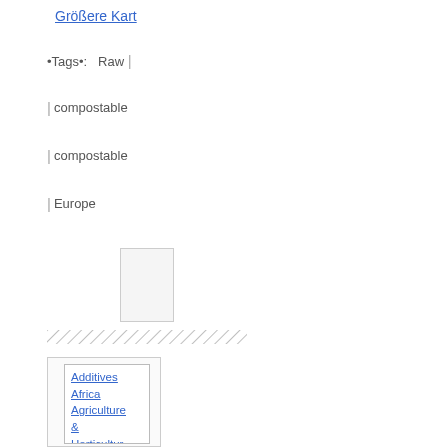Größere Kart
•Tags•:   Raw |
| compostable
| compostable
| Europe
[Figure (map): Small map thumbnail area]
[Figure (other): Hatched/striped horizontal bar]
Additives
Africa
Agriculture & Horticulture
Asia
Australia
Austria
Automotive sector
Belgium
Brasil